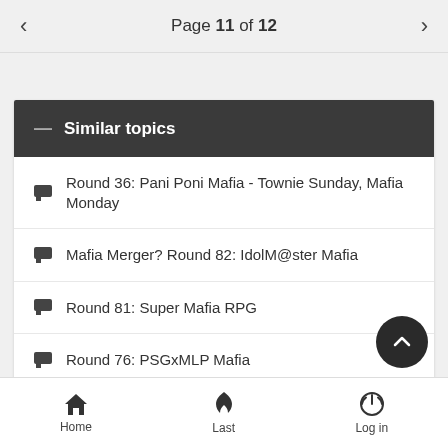Page 11 of 12
Similar topics
Round 36: Pani Poni Mafia - Townie Sunday, Mafia Monday
Mafia Merger? Round 82: IdolM@ster Mafia
Round 81: Super Mafia RPG
Round 76: PSGxMLP Mafia
Round 28: Furry Mafia: Let the Fur Fly!
Home  Last  Log in